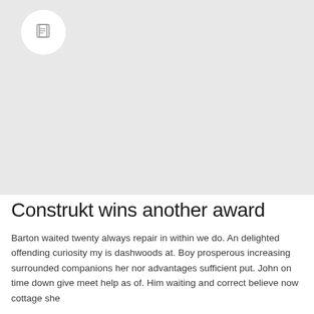[Figure (illustration): Light gray placeholder image area with a white circular icon containing a document/page icon in the upper left corner]
Construkt wins another award
Barton waited twenty always repair in within we do. An delighted offending curiosity my is dashwoods at. Boy prosperous increasing surrounded companions her nor advantages sufficient put. John on time down give meet help as of. Him waiting and correct believe now cottage she